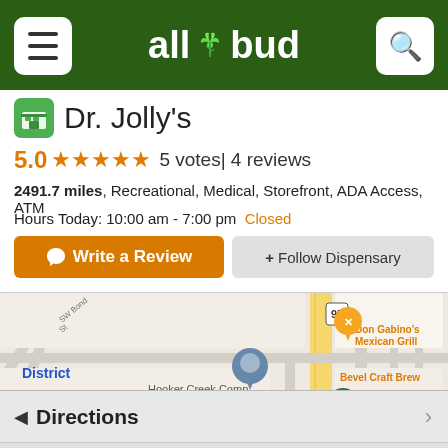allbud
Dr. Jolly's
5.0 ★★★★★ 5 votes| 4 reviews
2491.7 miles, Recreational, Medical, Storefront, ADA Access, ATM
Hours Today: 10:00 am - 7:00 pm  Closed
Write a Review  + Follow Dispensary
[Figure (map): Google Maps showing location of Dr. Jolly's at 415 Se 3rd St, Bend, OR. Nearby landmarks: Don Gabino's Mexican Grill, Residence Inn by Marriott Bend, Hooker Creek Companies, Bevel Craft Brew, District. Streets visible: SW Bond St, SE 2nd St, SE 3rd St, SE Yew Ln, SE 4th St.]
415 Se 3rd St. , Bend, OR, 97702
Directions